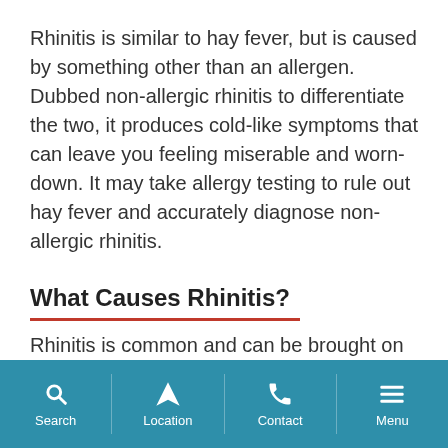Rhinitis is similar to hay fever, but is caused by something other than an allergen. Dubbed non-allergic rhinitis to differentiate the two, it produces cold-like symptoms that can leave you feeling miserable and worn-down. It may take allergy testing to rule out hay fever and accurately diagnose non-allergic rhinitis.
What Causes Rhinitis?
Rhinitis is common and can be brought on by a variety of factors. Various substances and...
Search | Location | Contact | Menu